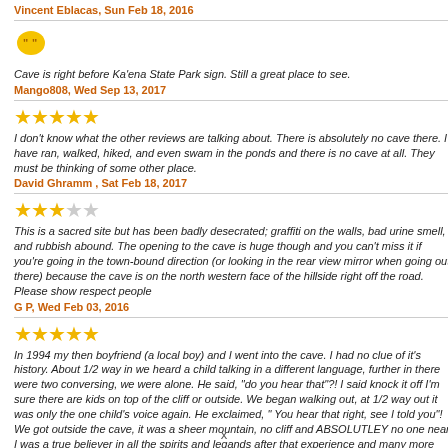Vincent Eblacas, Sun Feb 18, 2016
[Figure (illustration): Yellow speech bubble chat icon with quotation marks]
Cave is right before Ka'ena State Park sign. Still a great place to see.
Mango808, Wed Sep 13, 2017
[Figure (illustration): Five full yellow star rating]
I don't know what the other reviews are talking about. There is absolutely no cave there. I have ran, walked, hiked, and even swam in the ponds and there is no cave at all. They must be thinking of some other place.
David Ghramm , Sat Feb 18, 2017
[Figure (illustration): Three full yellow stars and two empty/gray stars rating]
This is a sacred site but has been badly desecrated; graffiti on the walls, bad urine smell, and rubbish abound. The opening to the cave is huge though and you can't miss it if you're going in the town-bound direction (or looking in the rear view mirror when going out there) because the cave is on the north western face of the hillside right off the road. Please show respect people
G P, Wed Feb 03, 2016
[Figure (illustration): Five full yellow star rating]
In 1994 my then boyfriend (a local boy) and I went into the cave. I had no clue of it's history. About 1/2 way in we heard a child talking in a different language, further in there were two conversing, we were alone. He said, "do you hear that"?! I said knock it off I'm sure there are kids on top of the cliff or outside. We began walking out, at 1/2 way out it was only the one child's voice again. He exclaimed, " You hear that right, see I told you"! We got outside the cave, it was a sheer mountain, no cliff and ABSOLUTLEY no one near. I was a true believer in all the spirits and legands after that experience and many more that followed during the 8 years of living on the island.
x